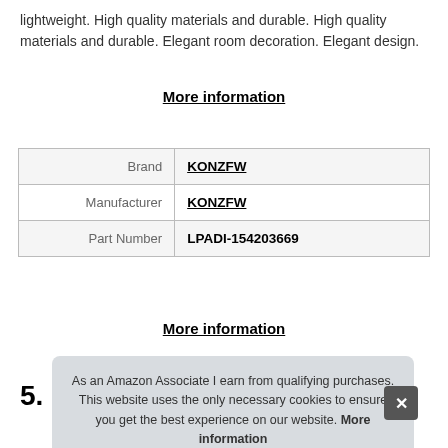lightweight. High quality materials and durable. High quality materials and durable. Elegant room decoration. Elegant design.
More information
|  |  |
| --- | --- |
| Brand | KONZFW |
| Manufacturer | KONZFW |
| Part Number | LPADI-154203669 |
More information
5.
As an Amazon Associate I earn from qualifying purchases. This website uses the only necessary cookies to ensure you get the best experience on our website. More information